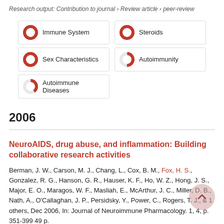Research output: Contribution to journal › Review article › peer-review
[Figure (infographic): Five keyword badges with donut/ring icons indicating relevance percentage: Immune System (100%), Steroids (100%), Sex Characteristics (100%), Autoimmunity (~50%), Autoimmune Diseases (~40%)]
2006
NeuroAIDS, drug abuse, and inflammation: Building collaborative research activities
Berman, J. W., Carson, M. J., Chang, L., Cox, B. M., Fox, H. S., Gonzalez, R. G., Hanson, G. R., Hauser, K. F., Ho, W. Z., Hong, J. S., Major, E. O., Maragos, W. F., Masliah, E., McArthur, J. C., Miller, D. B., Nath, A., O'Callaghan, J. P., Persidsky, Y., Power, C., Rogers, T. J., & 1 others, Dec 2006, In: Journal of Neuroimmune Pharmacology. 1, 4, p. 351-399 49 p.
Research output: Contribution to journal › Review article › peer-review